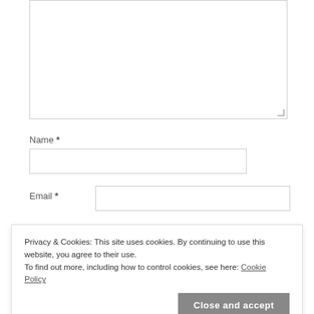[Figure (screenshot): Comment textarea input box, empty, with resize handle at bottom-right corner]
Name *
[Figure (screenshot): Name text input field, empty]
Email *
[Figure (screenshot): Email text input field, empty]
Privacy & Cookies: This site uses cookies. By continuing to use this website, you agree to their use.
To find out more, including how to control cookies, see here: Cookie Policy
Close and accept
Notify me of follow-up comments by email.